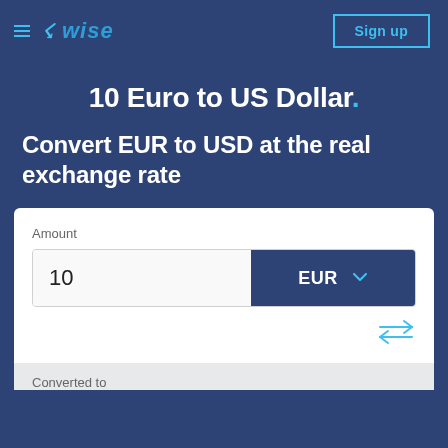≡ ⚡ wise   Sign up
10 Euro to US Dollar.
Convert EUR to USD at the real exchange rate
Amount
10   EUR ∨
Converted to